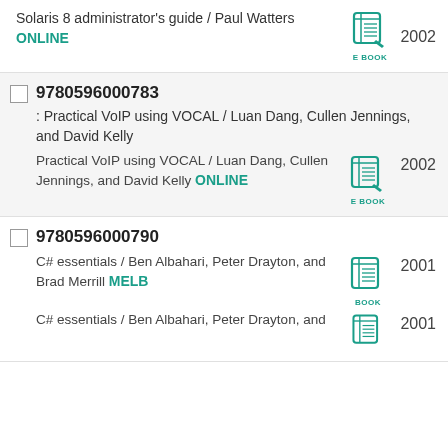Solaris 8 administrator's guide / Paul Watters ONLINE   2002
9780596000783
: Practical VoIP using VOCAL / Luan Dang, Cullen Jennings, and David Kelly
Practical VoIP using VOCAL / Luan Dang, Cullen Jennings, and David Kelly ONLINE   2002
9780596000790
C# essentials / Ben Albahari, Peter Drayton, and Brad Merrill MELB   2001
C# essentials / Ben Albahari, Peter Drayton, and   2001